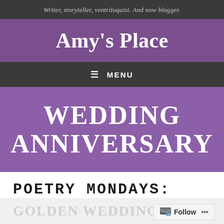Writer, storyteller, ventriloquist. And now blogger.
Amy's Place
≡ MENU
WEDDING ANNIVERSARY
POETRY MONDAYS:
GOLDEN WEDDING...